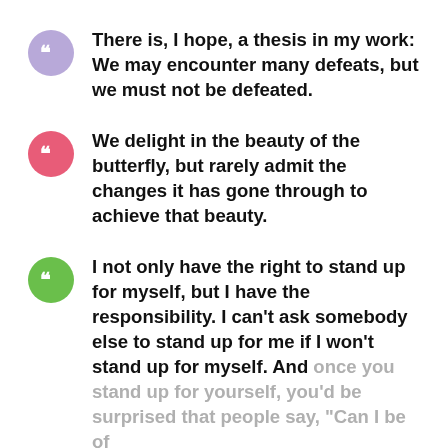There is, I hope, a thesis in my work: We may encounter many defeats, but we must not be defeated.
We delight in the beauty of the butterfly, but rarely admit the changes it has gone through to achieve that beauty.
I not only have the right to stand up for myself, but I have the responsibility. I can't ask somebody else to stand up for me if I won't stand up for myself. And once you stand up for yourself, you'd be surprised that people say, "Can I be of help?"